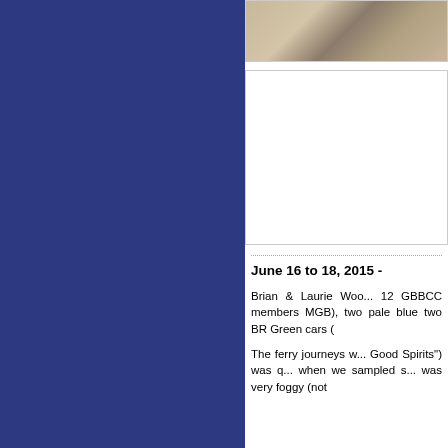[Figure (photo): Interior room photo showing furniture including chairs and possibly a table on a patterned rug]
[Figure (photo): White/blank image box, likely a placeholder for a second photo]
June 16 to 18, 2015 -
Brian & Laurie Woo... 12 GBBCC members... MGB), two pale blue... two BR Green cars (
The ferry journeys w... Good Spirits") was q... when we sampled s... was very foggy (not